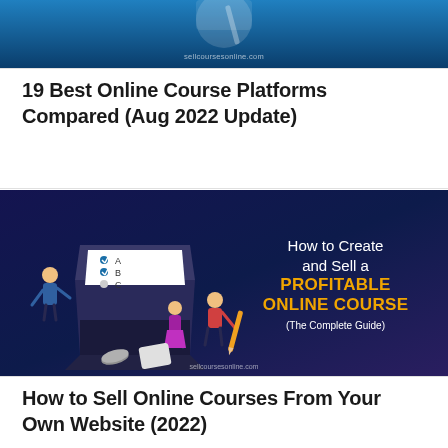[Figure (illustration): Top portion of a banner image from sellcoursesonline.com with a dark blue gradient background, partially cropped showing bottom edge with watermark text 'sellcoursesonline.com']
19 Best Online Course Platforms Compared (Aug 2022 Update)
[Figure (illustration): Banner image with dark navy/purple gradient background showing an isometric illustration of people around a laptop with course content (A, B, C checklist), and text reading 'How to Create and Sell a PROFITABLE ONLINE COURSE (The Complete Guide)' with yellow highlighted text, watermark 'sellcoursesonline.com']
How to Sell Online Courses From Your Own Website (2022)